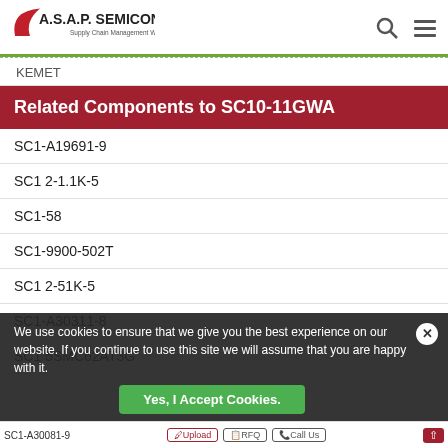A.S.A.P. SEMICONDUCTOR Supply Chain Management Worldwide
KEMET
Related Components to SC10-11GWA
SC1-A19691-9
SC1 2-1.1K-5
SC1-58
SC1-9900-502T
SC1 2-51K-5
SC1-A30311-8
SC1 5SMC62AT3G
We use cookies to ensure that we give you the best experience on our website. If you continue to use this site we will assume that you are happy with it.
Yes, I Accept Cookies.
SC1-A30081-9  Upload  RFQ  Call Us